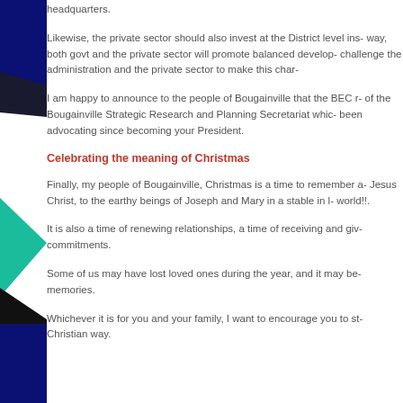headquarters.
Likewise, the private sector should also invest at the District level ins- way, both govt and the private sector will promote balanced develop- challenge the administration and the private sector to make this char-
I am happy to announce to the people of Bougainville that the BEC r- of the Bougainville Strategic Research and Planning Secretariat whic- been advocating since becoming your President.
Celebrating the meaning of Christmas
Finally, my people of Bougainville, Christmas is a time to remember a- Jesus Christ, to the earthy beings of Joseph and Mary in a stable in l- world!!.
It is also a time of renewing relationships, a time of receiving and giv- commitments.
Some of us may have lost loved ones during the year, and it may be- memories.
Whichever it is for you and your family, I want to encourage you to st- Christian way.